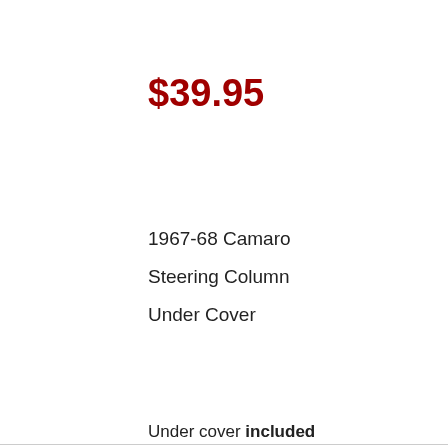$39.95
1967-68 Camaro
Steering Column
Under Cover
Under cover included
We use cookies on our website to give you the most relevant experience by remembering your preferences and repeat visits. By clicking “Accept”, you consent to the use of ALL the cookies.
Do not sell my personal information.
Cookie Settings  Accept